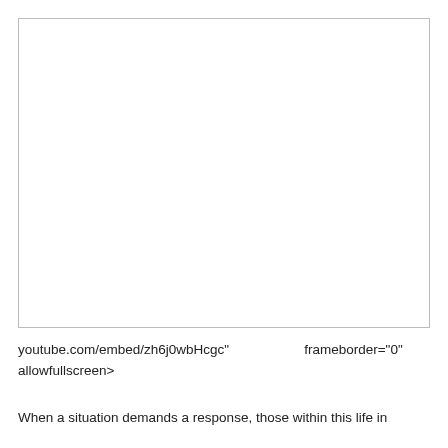[Figure (other): Empty white rectangle with a thin gray border, representing a video embed placeholder area.]
youtube.com/embed/zh6j0wbHcgc"                    frameborder="0" allowfullscreen>
When a situation demands a response, those within this life in